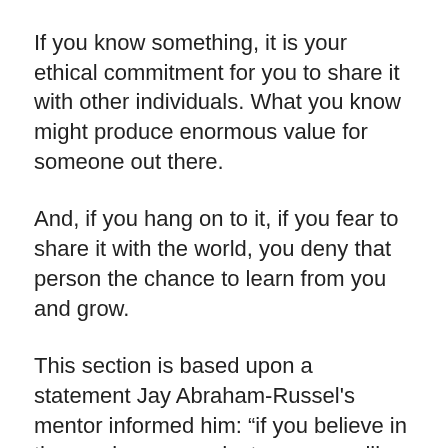If you know something, it is your ethical commitment for you to share it with other individuals. What you know might produce enormous value for someone out there.
And, if you hang on to it, if you fear to share it with the world, you deny that person the chance to learn from you and grow.
This section is based upon a statement Jay Abraham-Russel's mentor informed him: “if you believe in the services or product you are selling, you have an ethical commitment to attempt and serve your clients in every way.”
To do this, the section is divided into two